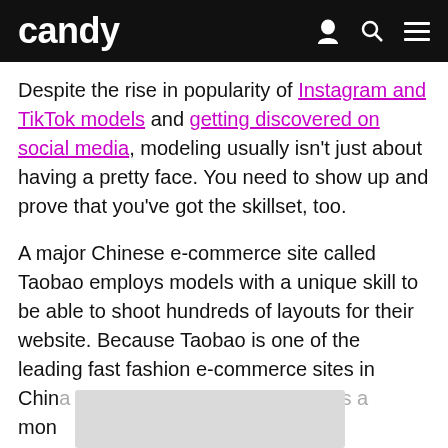candy
Despite the rise in popularity of Instagram and TikTok models and getting discovered on social media, modeling usually isn't just about having a pretty face. You need to show up and prove that you've got the skillset, too.
A major Chinese e-commerce site called Taobao employs models with a unique skill to be able to shoot hundreds of layouts for their website. Because Taobao is one of the leading fast fashion e-commerce sites in China visited by millions of customers a month… s of